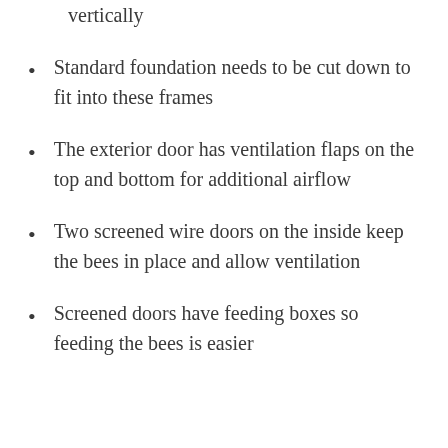vertically
Standard foundation needs to be cut down to fit into these frames
The exterior door has ventilation flaps on the top and bottom for additional airflow
Two screened wire doors on the inside keep the bees in place and allow ventilation
Screened doors have feeding boxes so feeding the bees is easier